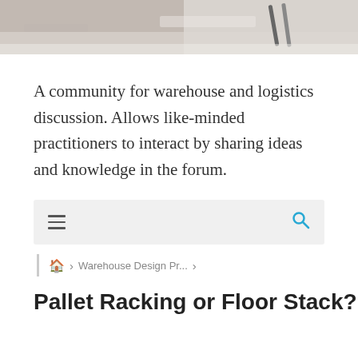[Figure (photo): Top banner image of a desk scene with hands and papers, partially cropped]
A community for warehouse and logistics discussion. Allows like-minded practitioners to interact by sharing ideas and knowledge in the forum.
[Figure (screenshot): Navigation bar with hamburger menu icon on the left and search icon on the right, gray background]
Home > Warehouse Design Pr... >
Pallet Racking or Floor Stack?